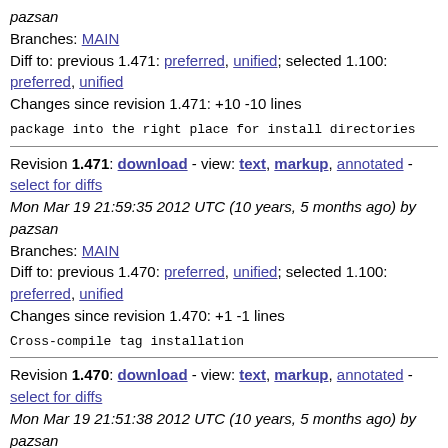pazsan
Branches: MAIN
Diff to: previous 1.471: preferred, unified; selected 1.100: preferred, unified
Changes since revision 1.471: +10 -10 lines
package into the right place for install directories
Revision 1.471: download - view: text, markup, annotated - select for diffs
Mon Mar 19 21:59:35 2012 UTC (10 years, 5 months ago) by pazsan
Branches: MAIN
Diff to: previous 1.470: preferred, unified; selected 1.100: preferred, unified
Changes since revision 1.470: +1 -1 lines
Cross-compile tag installation
Revision 1.470: download - view: text, markup, annotated - select for diffs
Mon Mar 19 21:51:38 2012 UTC (10 years, 5 months ago) by pazsan
Branches: MAIN
Diff to: previous 1.469: preferred, unified; selected 1.100: preferred, unified